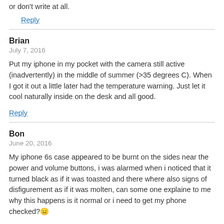or don't write at all.
Reply
Brian
July 7, 2016
Put my iphone in my pocket with the camera still active (inadvertently) in the middle of summer (>35 degrees C). When I got it out a little later had the temperature warning. Just let it cool naturally inside on the desk and all good.
Reply
Bon
June 20, 2016
My iphone 6s case appeared to be burnt on the sides near the power and volume buttons, i was alarmed when i noticed that it turned black as if it was toasted and there where also signs of disfigurement as if it was molten, can some one explaine to me why this happens is it normal or i need to get my phone checked?😑
Reply